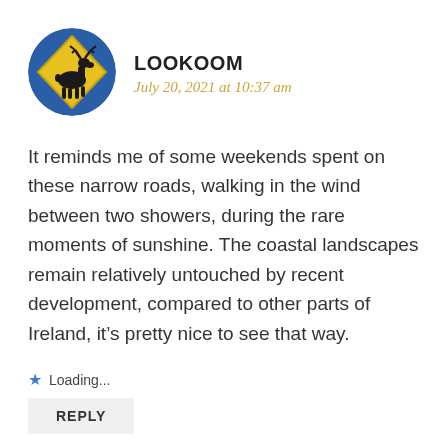[Figure (logo): Circular avatar with blue border containing a yellow diamond-shaped road sign with a black moose silhouette — the Lookoom user avatar]
LOOKOOM
July 20, 2021 at 10:37 am
It reminds me of some weekends spent on these narrow roads, walking in the wind between two showers, during the rare moments of sunshine. The coastal landscapes remain relatively untouched by recent development, compared to other parts of Ireland, it’s pretty nice to see that way.
Loading...
REPLY